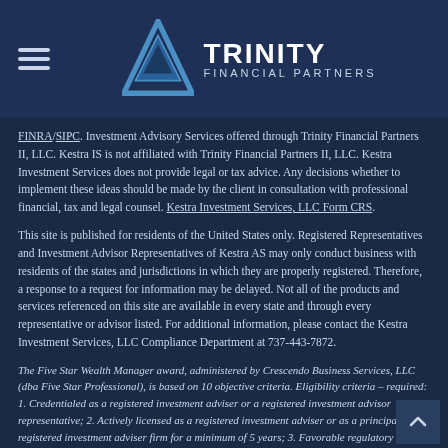Trinity Financial Partners
FINRA/SIPC. Investment Advisory Services offered through Trinity Financial Partners II, LLC. Kestra IS is not affiliated with Trinity Financial Partners II, LLC. Kestra Investment Services does not provide legal or tax advice. Any decisions whether to implement these ideas should be made by the client in consultation with professional financial, tax and legal counsel. Kestra Investment Services, LLC Form CRS.
This site is published for residents of the United States only. Registered Representatives and Investment Advisor Representatives of Kestra AS may only conduct business with residents of the states and jurisdictions in which they are properly registered. Therefore, a response to a request for information may be delayed. Not all of the products and services referenced on this site are available in every state and through every representative or advisor listed. For additional information, please contact the Kestra Investment Services, LLC Compliance Department at 737-443-7872.
The Five Star Wealth Manager award, administered by Crescendo Business Services, LLC (dba Five Star Professional), is based on 10 objective criteria. Eligibility criteria – required: 1. Credentialed as a registered investment adviser or a registered investment advisor representative; 2. Actively licensed as a registered investment adviser or as a principal of a registered investment adviser firm for a minimum of 5 years; 3. Favorable regulatory and complaint history review (As defined by Five Star Professional, the wealth manager has not: A. Been subject to a regulatory action that resulted in